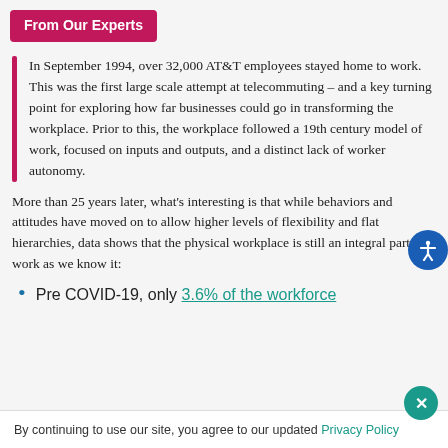From Our Experts
In September 1994, over 32,000 AT&T employees stayed home to work. This was the first large scale attempt at telecommuting – and a key turning point for exploring how far businesses could go in transforming the workplace. Prior to this, the workplace followed a 19th century model of work, focused on inputs and outputs, and a distinct lack of worker autonomy.
More than 25 years later, what's interesting is that while behaviors and attitudes have moved on to allow higher levels of flexibility and flat hierarchies, data shows that the physical workplace is still an integral part of work as we know it:
Pre COVID-19, only 3.6% of the workforce
By continuing to use our site, you agree to our updated Privacy Policy